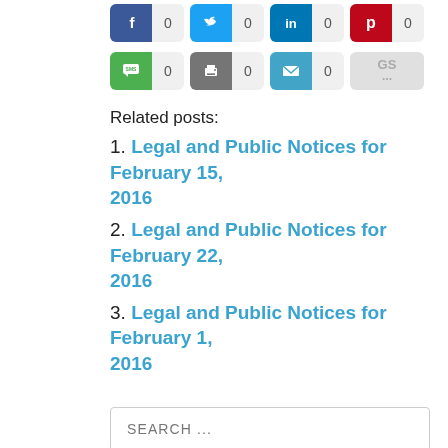[Figure (infographic): Social share buttons row 1: Facebook (0), Twitter (0), LinkedIn (0), Pinterest (0)]
[Figure (infographic): Social share buttons row 2: SMS (0), Print (0), Email (0), GS (...)]
Related posts:
1. Legal and Public Notices for February 15, 2016
2. Legal and Public Notices for February 22, 2016
3. Legal and Public Notices for February 1, 2016
SEARCH ...
Recent Posts